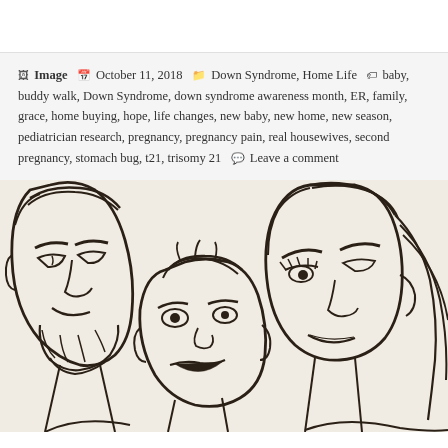Image  October 11, 2018  Down Syndrome, Home Life  baby, buddy walk, Down Syndrome, down syndrome awareness month, ER, family, grace, home buying, hope, life changes, new baby, new home, new season, pediatrician research, pregnancy, pregnancy pain, real housewives, second pregnancy, stomach bug, t21, trisomy 21  Leave a comment
[Figure (illustration): Caricature-style ink line drawing of a family: a bearded man on the left, a woman with long hair on the right, and a small child in the center foreground, all drawn in black ink on a warm off-white/cream background.]